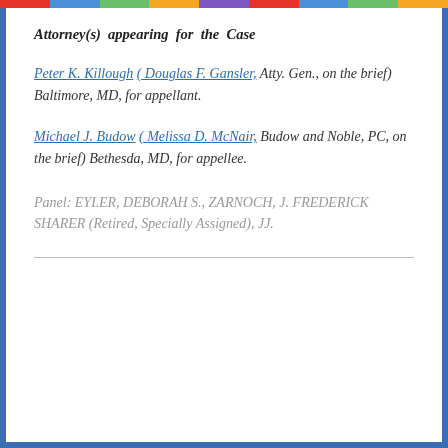Attorney(s) appearing for the Case
Peter K. Killough ( Douglas F. Gansler, Atty. Gen., on the brief) Baltimore, MD, for appellant.
Michael J. Budow ( Melissa D. McNair, Budow and Noble, PC, on the brief) Bethesda, MD, for appellee.
Panel: EYLER, DEBORAH S., ZARNOCH, J. FREDERICK SHARER (Retired, Specially Assigned), JJ.